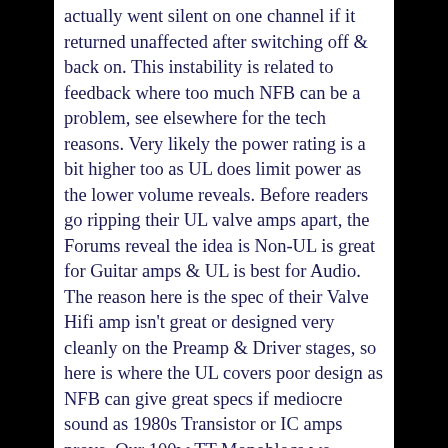actually went silent on one channel if it returned unaffected after switching off & back on. This instability is related to feedback where too much NFB can be a problem, see elsewhere for the tech reasons. Very likely the power rating is a bit higher too as UL does limit power as the lower volume reveals. Before readers go ripping their UL valve amps apart, the Forums reveal the idea is Non-UL is great for Guitar amps & UL is best for Audio. The reason here is the spec of their Valve Hifi amp isn't great or designed very cleanly on the Preamp & Driver stages, so here is where the UL covers poor design as NFB can give great specs if mediocre sound as 1980s Transistor or IC amps prove. Our 100w TT Monoblocs we always thought lacked the punchy sound of amps like Sony TA-1120 (1965) & the Pioneer SA-9500, the Non UL Pentode mode will get tried on those too. Are we going to fit an UL switch or use UL again? No... UL is flat & lifeless, has no bass & is hard sounding on the